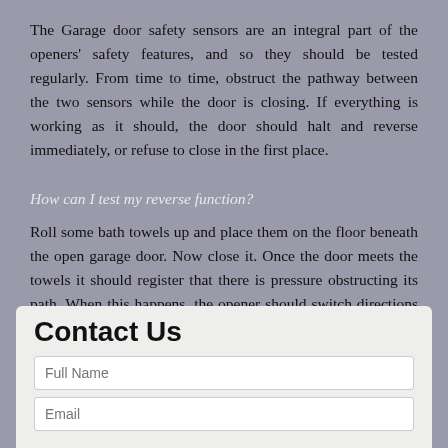The Garage door safety sensors are an integral part of the openers' safety features, and so they should be tested regularly. From time to time, obstruct the pathway between the two sensors while the door is closing. If everything is working as it should, the door should halt and reverse immediately, or refuse to close in the first place.
How can I test my reverse function?
Roll some bath towels up and place them on the floor beneath the open garage door. Now close it. Once the door meets the towels it should register that there is pressure obstructing its path. When this happens, the opener should switch directions immediately and begin reversing upwards. If not, you need to have it looked at before damages occur.
Contact Us